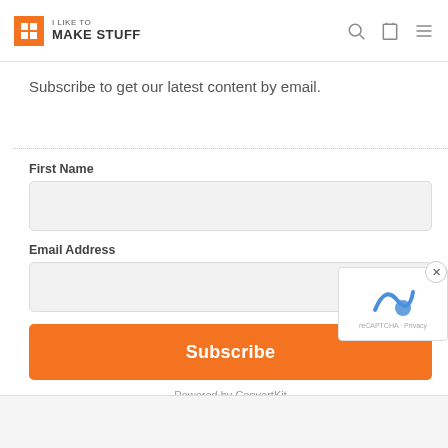I LIKE TO MAKE STUFF
Subscribe to get our latest content by email.
First Name
Email Address
Subscribe
Powered by ConvertKit